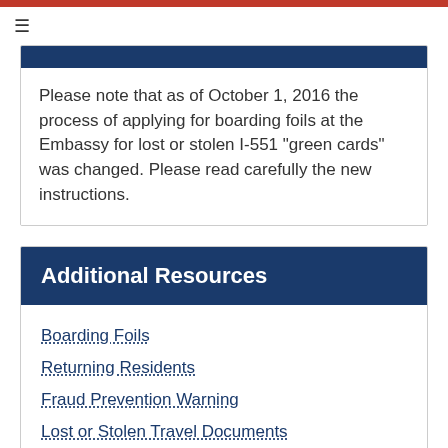≡
Please note that as of October 1, 2016 the process of applying for boarding foils at the Embassy for lost or stolen I-551 "green cards" was changed. Please read carefully the new instructions.
Additional Resources
Boarding Foils
Returning Residents
Fraud Prevention Warning
Lost or Stolen Travel Documents